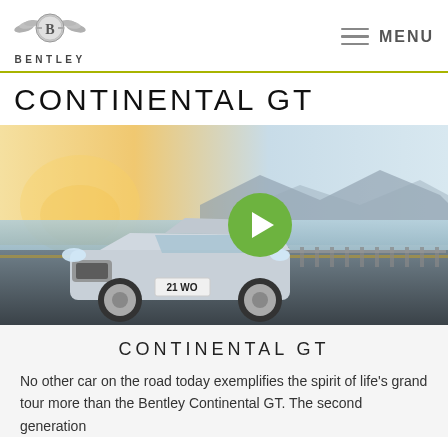[Figure (logo): Bentley logo with wings emblem and BENTLEY text below]
MENU
CONTINENTAL GT
[Figure (photo): Bentley Continental GT silver car driving on coastal road with mountains and sea in background, with a green play button overlay indicating a video]
CONTINENTAL GT
No other car on the road today exemplifies the spirit of life's grand tour more than the Bentley Continental GT. The second generation